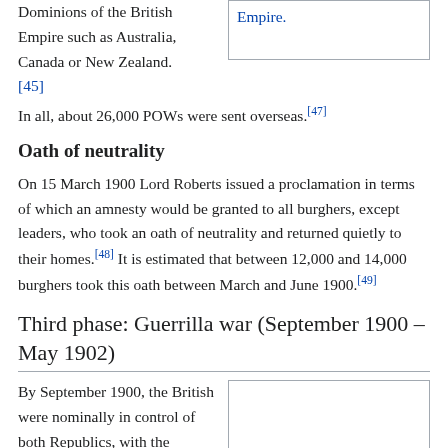Dominions of the British Empire such as Australia, Canada or New Zealand.[45]
Empire.
In all, about 26,000 POWs were sent overseas.[47]
Oath of neutrality
On 15 March 1900 Lord Roberts issued a proclamation in terms of which an amnesty would be granted to all burghers, except leaders, who took an oath of neutrality and returned quietly to their homes.[48] It is estimated that between 12,000 and 14,000 burghers took this oath between March and June 1900.[49]
Third phase: Guerrilla war (September 1900 – May 1902)
By September 1900, the British were nominally in control of both Republics, with the exception of the northern part of Transvaal,